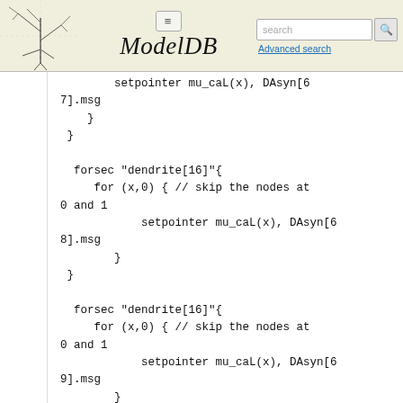ModelDB – Advanced search
setpointer mu_caL(x), DAsyn[67].msg
    }
 }

  forsec "dendrite[16]"{
     for (x,0) { // skip the nodes at 0 and 1
            setpointer mu_caL(x), DAsyn[68].msg
        }
 }

  forsec "dendrite[16]"{
     for (x,0) { // skip the nodes at 0 and 1
            setpointer mu_caL(x), DAsyn[69].msg
        }
 }